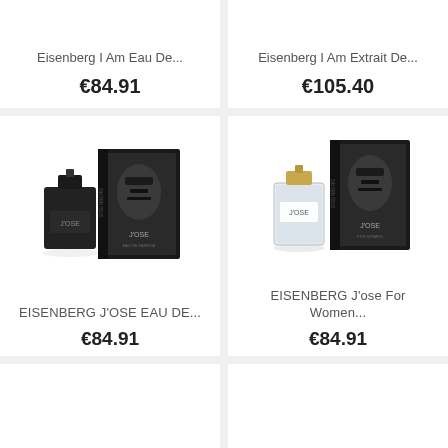Eisenberg I Am Eau De...
€84.91
Eisenberg I Am Extrait De...
€105.40
[Figure (photo): EISENBERG J'OSE EAU DE... perfume product photo: dark black square bottle with black box packaging showing a woman's face]
EISENBERG J'OSE EAU DE...
€84.91
[Figure (photo): EISENBERG J'ose For Women perfume product photo: clear/transparent square bottle with gold cap and black box packaging showing a woman's face]
EISENBERG J'ose For Women...
€84.91
[Figure (photo): Partial product card at bottom left, mostly empty/white]
[Figure (photo): Partial product card at bottom right, mostly empty/white]